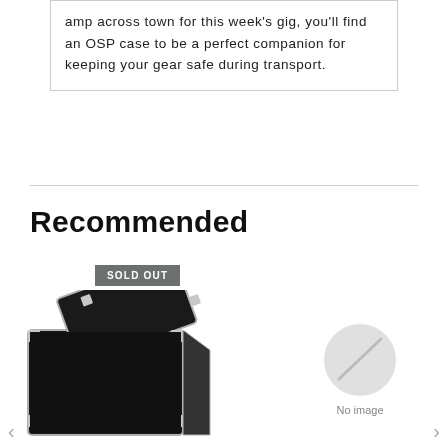amp across town for this week's gig, you'll find an OSP case to be a perfect companion for keeping your gear safe during transport.
Recommended
[Figure (photo): Black rack case (OSP) with lid open, shown at an angle. A 'SOLD OUT' badge appears in gray over the image.]
[Figure (photo): Gray circle placeholder with diagonal line indicating no image available. Text reads 'No image'.]